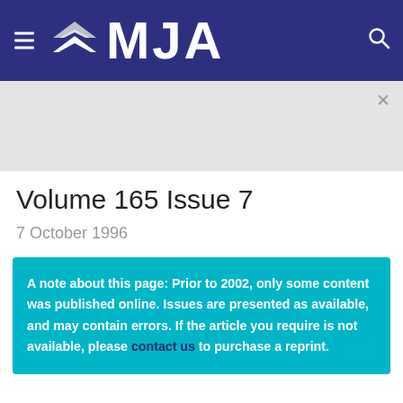MJA
Volume 165 Issue 7
7 October 1996
A note about this page: Prior to 2002, only some content was published online. Issues are presented as available, and may contain errors. If the article you require is not available, please contact us to purchase a reprint.